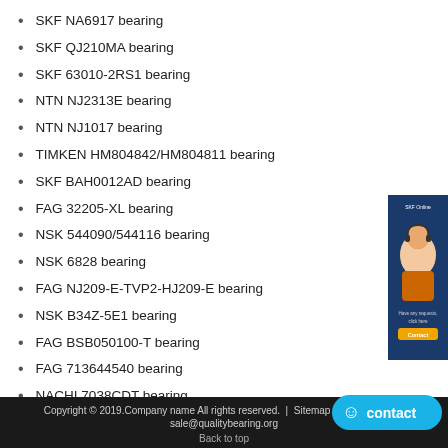SKF NA6917 bearing
SKF QJ210MA bearing
SKF 63010-2RS1 bearing
NTN NJ2313E bearing
NTN NJ1017 bearing
TIMKEN HM804842/HM804811 bearing
SKF BAH0012AD bearing
FAG 32205-XL bearing
NSK 544090/544116 bearing
NSK 6828 bearing
FAG NJ209-E-TVP2-HJ209-E bearing
NSK B34Z-5E1 bearing
FAG BSB050100-T bearing
FAG 713644540 bearing
NACHI 7038CDT bearing
KOYO 24180RK30 bearing
KOYO 66200R/66461 bearing
[Figure (photo): Customer service representative / SKF Online advertisement banner on the right side]
Copyright © 2019.Company name All rights reserved. | Sitemap | Email: sale@qualitybearing.org
Back to top